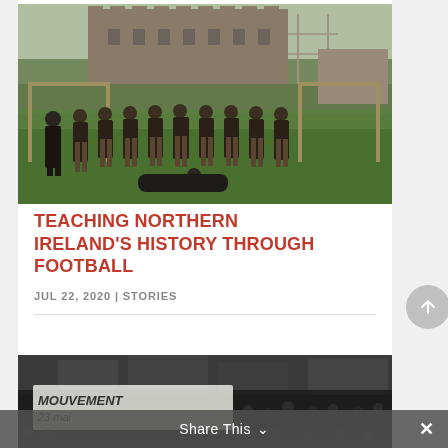[Figure (photo): A group of men in striped football/rugby clothing posed on a field in front of a large brick castle or manor building, with wooden goalposts visible. One person is lying on the ground in front.]
TEACHING NORTHERN IRELAND'S HISTORY THROUGH FOOTBALL
JUL 22, 2020 | STORIES
[Figure (photo): A black and white crowd scene with a banner reading 'MOUVEMENT 23 mai' or similar text visible at the front.]